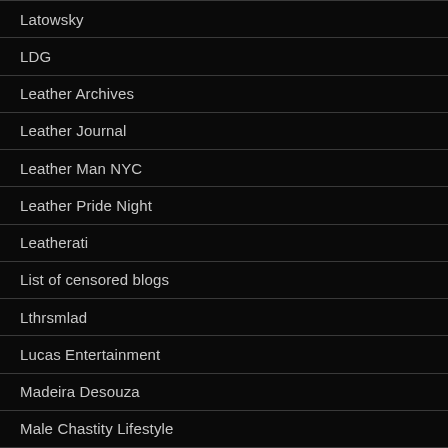Latowsky
LDG
Leather Archives
Leather Journal
Leather Man NYC
Leather Pride Night
Leatherati
List of censored blogs
Lthrsmlad
Lucas Entertainment
Madeira Desouza
Male Chastity Lifestyle